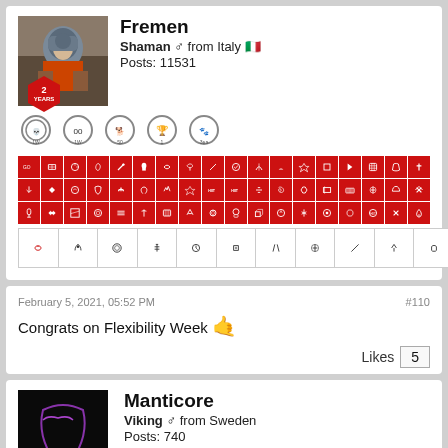Fremen
Shaman ♂ from Italy
Posts: 11531
[Figure (infographic): Achievement badges: 4 rows of red icon badges and 1 row of white/outlined badge icons]
February 5, 2021, 05:52 PM
#110
Congrats on Flexibility Week 🤙
Likes 5
Manticore
Viking ♂ from Sweden
Posts: 740